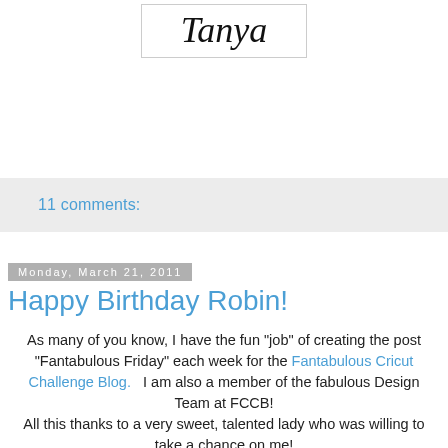[Figure (illustration): Signature graphic showing the name 'Tanya' in decorative cursive script inside a bordered box]
11 comments:
Monday, March 21, 2011
Happy Birthday Robin!
As many of you know, I have the fun "job" of creating the post "Fantabulous Friday" each week for the Fantabulous Cricut Challenge Blog.   I am also a member of the fabulous Design Team at FCCB!
All this thanks to a very sweet, talented lady who was willing to take a chance on me!
Today just so happens to be the BIRTHDAY of this sweet, talented lady!